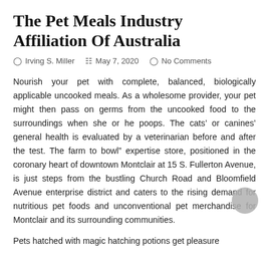The Pet Meals Industry Affiliation Of Australia
Irving S. Miller   May 7, 2020   No Comments
Nourish your pet with complete, balanced, biologically applicable uncooked meals. As a wholesome provider, your pet might then pass on germs from the uncooked food to the surroundings when she or he poops. The cats’ or canines’ general health is evaluated by a veterinarian before and after the test. The farm to bowl” expertise store, positioned in the coronary heart of downtown Montclair at 15 S. Fullerton Avenue, is just steps from the bustling Church Road and Bloomfield Avenue enterprise district and caters to the rising demand for nutritious pet foods and unconventional pet merchandise for Montclair and its surrounding communities.
Pets hatched with magic hatching potions get pleasure